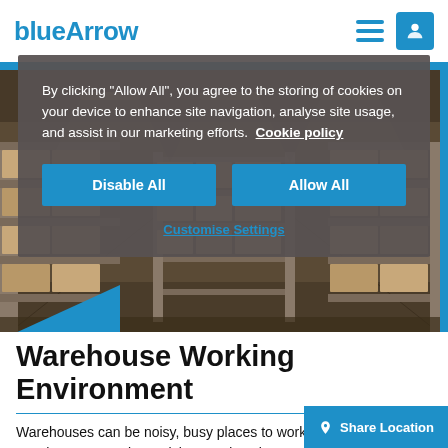blueArrow
[Figure (screenshot): Cookie consent modal overlay on Blue Arrow recruitment website, showing message about cookies, Disable All and Allow All buttons, and Customise Settings link]
By clicking "Allow All", you agree to the storing of cookies on your device to enhance site navigation, analyse site usage, and assist in our marketing efforts. Cookie policy
[Figure (photo): Warehouse interior showing tall metal shelving racks stacked with large cardboard boxes and pallets, industrial lighting overhead]
Warehouse Working Environment
Warehouses can be noisy, busy places to work, with hundreds of warehouse operatives, pickers and packers, and forklift truck drivers who are moving pallet